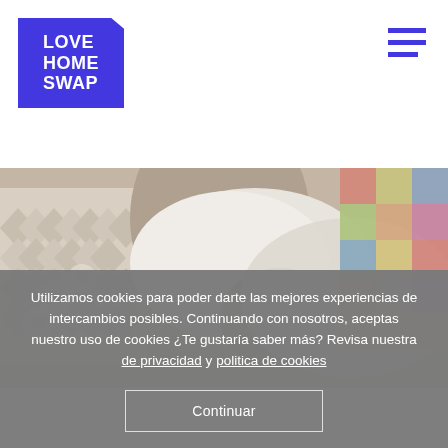[Figure (logo): Love Home Swap logo — blue angular pentagon background with white bold text reading LOVE HOME SWAP]
[Figure (photo): Overhead view of a bed with white and grey pillows and a geometric patchwork quilt on the right side, warm neutral tones]
Utilizamos cookies para poder darte las mejores experiencias de intercambios posibles. Continuando con nosotros, aceptas nuestro uso de cookies ¿Te gustaría saber más? Revisa nuestra de privacidad y politica de cookies